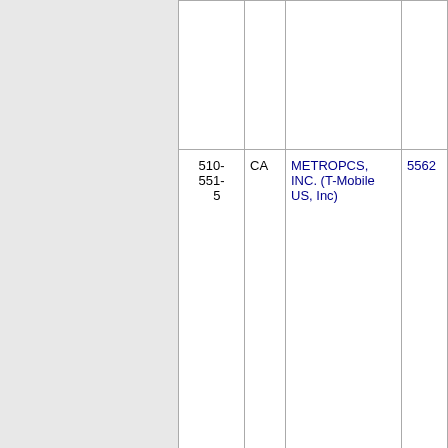| Phone | State | Company | Code |  |
| --- | --- | --- | --- | --- |
|  |  |  |  |  |
| 510-551-5 | CA | METROPCS, INC. (T-Mobile US, Inc) | 5562 |  |
| 510-551-6 | CA | METROPCS, INC. (T-Mobile US, Inc) | 5562 |  |